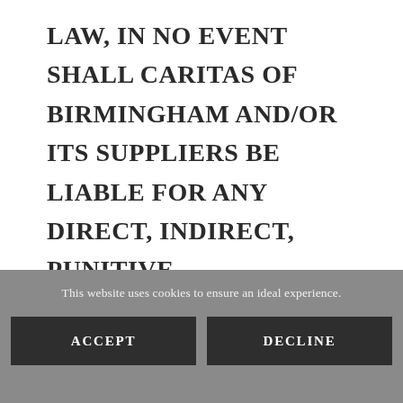LAW, IN NO EVENT SHALL CARITAS OF BIRMINGHAM AND/OR ITS SUPPLIERS BE LIABLE FOR ANY DIRECT, INDIRECT, PUNITIVE, INCIDENTAL, SPECIAL, CONSEQUENTIAL DAMAGES OR ANY DAMAGES WHATSOEVER
This website uses cookies to ensure an ideal experience.
ACCEPT
DECLINE